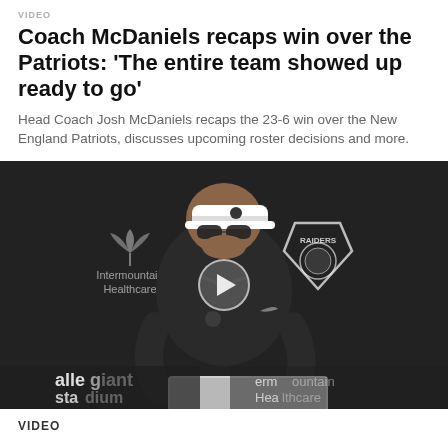VIDEO
Coach McDaniels recaps win over the Patriots: 'The entire team showed up ready to go'
Head Coach Josh McDaniels recaps the 23-6 win over the New England Patriots, discusses upcoming roster decisions and more.
[Figure (photo): Press conference photo of Head Coach Josh McDaniels wearing a white Raiders visor and black jacket, standing at a podium. Intermountain Healthcare and Raiders logos visible in background. Allegiant Stadium branding visible at bottom.]
VIDEO